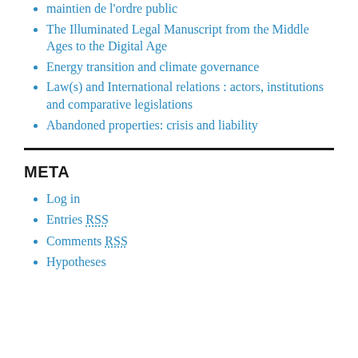maintien de l'ordre public
The Illuminated Legal Manuscript from the Middle Ages to the Digital Age
Energy transition and climate governance
Law(s) and International relations : actors, institutions and comparative legislations
Abandoned properties: crisis and liability
META
Log in
Entries RSS
Comments RSS
Hypotheses